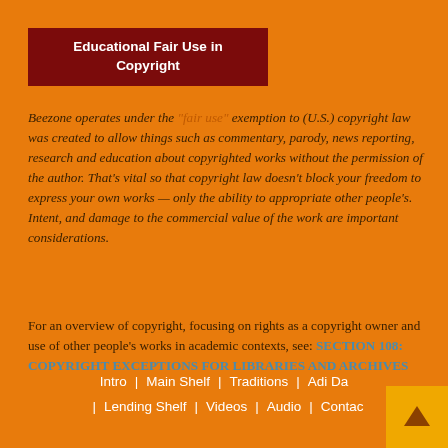Educational Fair Use in Copyright
Beezone operates under the "fair use" exemption to (U.S.) copyright law was created to allow things such as commentary, parody, news reporting, research and education about copyrighted works without the permission of the author. That's vital so that copyright law doesn't block your freedom to express your own works — only the ability to appropriate other people's. Intent, and damage to the commercial value of the work are important considerations.
For an overview of copyright, focusing on rights as a copyright owner and use of other people's works in academic contexts, see: SECTION 108: COPYRIGHT EXCEPTIONS FOR LIBRARIES AND ARCHIVES
Intro  |  Main Shelf  |  Traditions  |  Adi Da  |  Lending Shelf  |  Videos  |  Audio  |  Contact